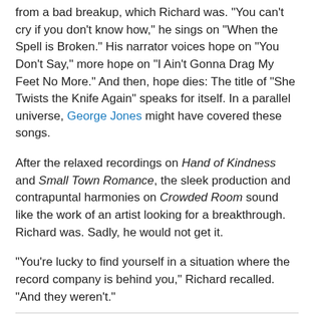from a bad breakup, which Richard was. "You can't cry if you don't know how," he sings on "When the Spell is Broken." His narrator voices hope on "You Don't Say," more hope on "I Ain't Gonna Drag My Feet No More." And then, hope dies: The title of "She Twists the Knife Again" speaks for itself. In a parallel universe, George Jones might have covered these songs.
After the relaxed recordings on Hand of Kindness and Small Town Romance, the sleek production and contrapuntal harmonies on Crowded Room sound like the work of an artist looking for a breakthrough. Richard was. Sadly, he would not get it.
"You're lucky to find yourself in a situation where the record company is behind you," Richard recalled. "And they weren't."
Rumor and Sigh, 1991
Richard finally reaped some major-label love on this album,
[Figure (photo): Album cover for Richard Thompson's 'Rumor and Sigh' (1991) showing a yellow background with purple border, the text 'RICHARD THOMPSON' in a teal/blue banner, and an illustrated face.]